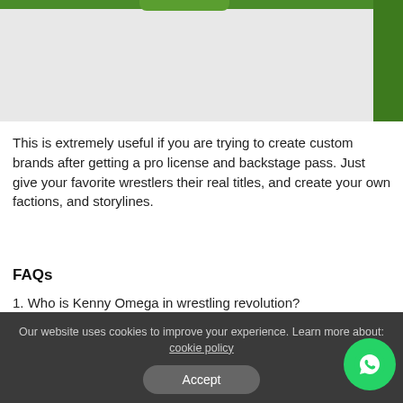[Figure (photo): Top image area showing website header with green bar and gray content region]
This is extremely useful if you are trying to create custom brands after getting a pro license and backstage pass. Just give your favorite wrestlers their real titles, and create your own factions, and storylines.
FAQs
1. Who is Kenny Omega in wrestling revolution?
Johnny Alpha of Rising Sun Pureracy is the real life Kenny Omega
Our website uses cookies to improve your experience. Learn more about: cookie policy
Accept